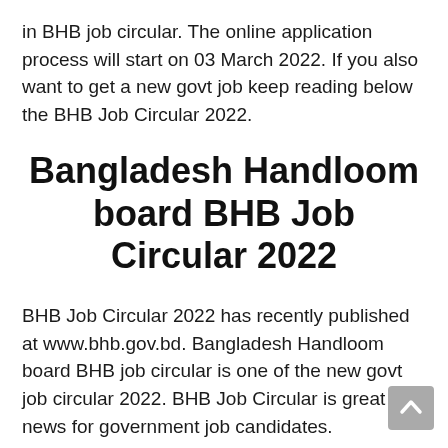in BHB job circular. The online application process will start on 03 March 2022. If you also want to get a new govt job keep reading below the BHB Job Circular 2022.
Bangladesh Handloom board BHB Job Circular 2022
BHB Job Circular 2022 has recently published at www.bhb.gov.bd. Bangladesh Handloom board BHB job circular is one of the new govt job circular 2022. BHB Job Circular is great news for government job candidates. Bangladesh Handloom board job news is a great opportunity for those who want a government job in 2022. There are a total of 07 different posts in the job circular. BHB All